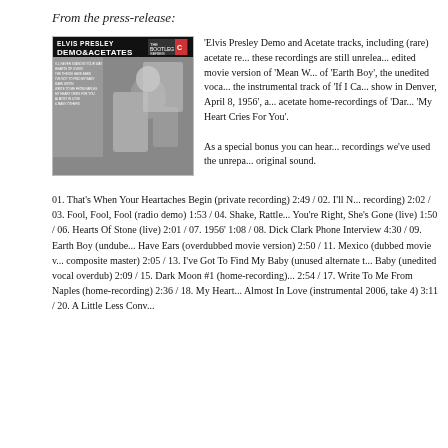From the press-release:
[Figure (photo): Album cover of Elvis Presley Demo & Acetates, showing Elvis seated on a train, black and white photo, with track listing on the left side and Bootleg Series logo in top right corner.]
'Elvis Presley Demo and Acetate tracks, including (rare) acetate recordings, these recordings are still unreleased. The unedited movie version of 'Mean Woman', an alternate take of 'Earth Boy', the unedited vocal overdub of 'If I Can Dream', the instrumental track of 'If I Can Dream', a live show in Denver, April 8, 1956', and more acetate home-recordings of 'Dark Moon' and 'My Heart Cries For You'. As a special bonus you can hear... recordings we've used the unrep... original sound.
01. That's When Your Heartaches Begin (private recording) 2:49 / 02. I'll N... recording) 2:02 / 03. Fool, Fool, Fool (radio demo) 1:53 / 04. Shake, Rattle... You're Right, She's Gone (live) 1:50 / 06. Hearts Of Stone (live) 2:01 / 07. 1956' 1:08 / 08. Dick Clark Phone Interview 4:30 / 09. Earth Boy (undub... Have Ears (overdubbed movie version) 2:50 / 11. Mexico (dubbed movie v... composite master) 2:05 / 13. I've Got To Find My Baby (unused alternate t... Baby (unedited vocal overdub) 2:09 / 15. Dark Moon #1 (home-recording) 2:54 / 17. Write To Me From Naples (home-recording) 2:36 / 18. My Heart... Almost In Love (instrumental 2006, take 4) 3:11 / 20. A Little Less Conv...